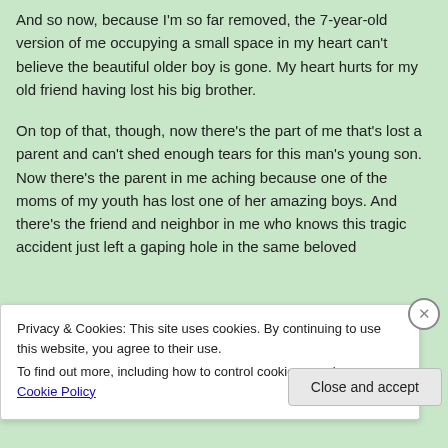And so now, because I'm so far removed, the 7-year-old version of me occupying a small space in my heart can't believe the beautiful older boy is gone. My heart hurts for my old friend having lost his big brother.
On top of that, though, now there's the part of me that's lost a parent and can't shed enough tears for this man's young son. Now there's the parent in me aching because one of the moms of my youth has lost one of her amazing boys. And there's the friend and neighbor in me who knows this tragic accident just left a gaping hole in the same beloved
Privacy & Cookies: This site uses cookies. By continuing to use this website, you agree to their use.
To find out more, including how to control cookies, see here: Cookie Policy
Close and accept